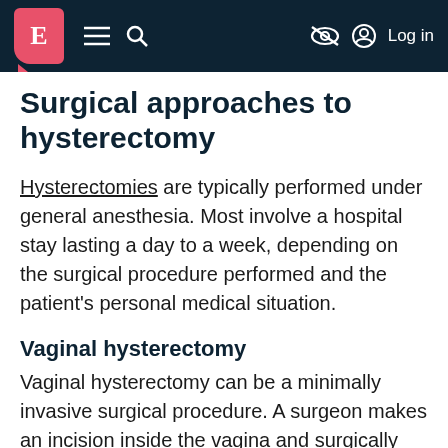E [logo] ≡ 🔍 [navigation bar] Log in
Surgical approaches to hysterectomy
Hysterectomies are typically performed under general anesthesia. Most involve a hospital stay lasting a day to a week, depending on the surgical procedure performed and the patient's personal medical situation.
Vaginal hysterectomy
Vaginal hysterectomy can be a minimally invasive surgical procedure. A surgeon makes an incision inside the vagina and surgically separates the uterus from the